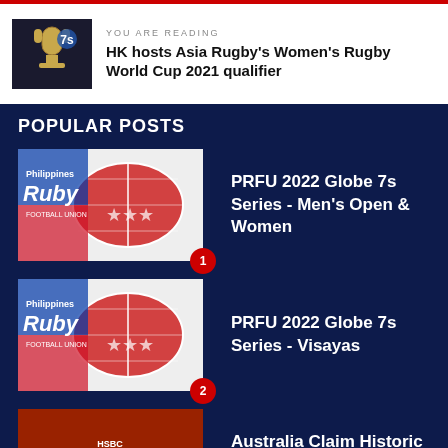YOU ARE READING
HK hosts Asia Rugby's Women's Rugby World Cup 2021 qualifier
POPULAR POSTS
PRFU 2022 Globe 7s Series - Men's Open & Women
PRFU 2022 Globe 7s Series - Visayas
Australia Claim Historic First HSBC World Rugby Sevens Series
© Copyright RugbyAsia247